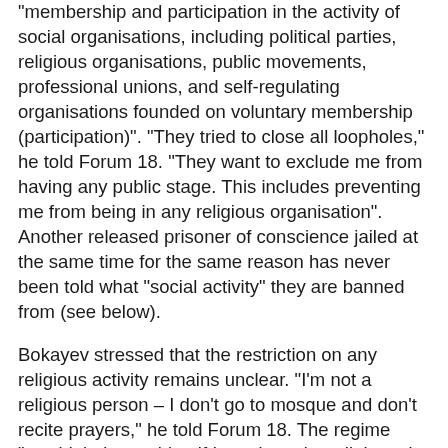"membership and participation in the activity of social organisations, including political parties, religious organisations, public movements, professional unions, and self-regulating organisations founded on voluntary membership (participation)". "They tried to close all loopholes," he told Forum 18. "They want to exclude me from having any public stage. This includes preventing me from being in any religious organisation". Another released prisoner of conscience jailed at the same time for the same reason has never been told what "social activity" they are banned from (see below).
Bokayev stressed that the restriction on any religious activity remains unclear. "I'm not a religious person – I don't go to mosque and don't recite prayers," he told Forum 18. The regime "wouldn't do anything if I conducted a religious rite in a mosque, but they would take action against me, like anyone else, if I conducted any rite anywhere else". Bokayev remains concerned about the denial of his rights. "Maybe one day I'll have a revelation and will want to attend or build a place of worship. Officially I wouldn't be able to do so" (see below).